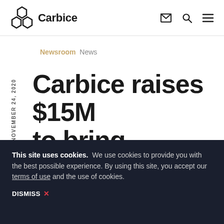Carbice
Newsroom  News
NOVEMBER 24, 2020
Carbice raises $15M to bring nanomaterials to your phone and to
This site uses cookies.  We use cookies to provide you with the best possible experience. By using this site, you accept our terms of use and the use of cookies.
DISMISS ×